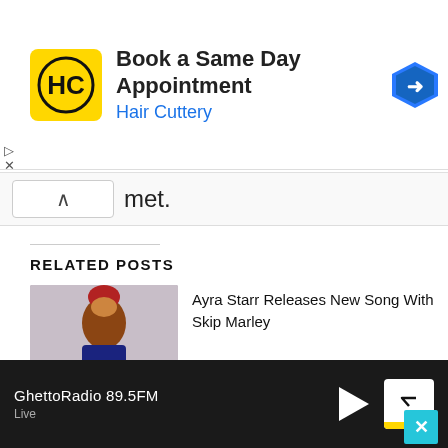[Figure (screenshot): Advertisement banner for Hair Cuttery: yellow HC logo, text 'Book a Same Day Appointment', subtitle 'Hair Cuttery' in blue, navigation arrow icon on right]
met.
RELATED POSTS
[Figure (photo): Photo of Ayra Starr with red braided hair tied up, wearing a dark top]
Ayra Starr Releases New Song With Skip Marley
[Figure (photo): Photo of Nairobi Assembly chamber with red carpet and seated members]
Nairobi Assembly Azimio MCAs in a Tight Race For House...
GhettoRadio 89.5FM
Live